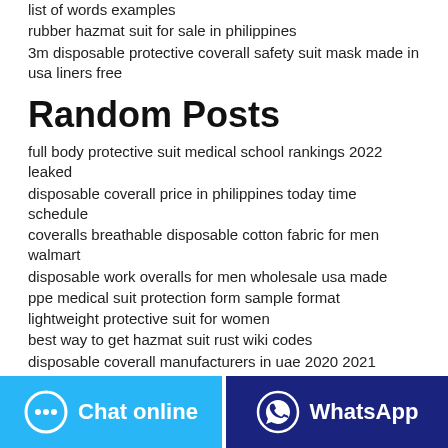list of words examples
rubber hazmat suit for sale in philippines
3m disposable protective coverall safety suit mask made in usa liners free
Random Posts
full body protective suit medical school rankings 2022 leaked
disposable coverall price in philippines today time schedule
coveralls breathable disposable cotton fabric for men walmart
disposable work overalls for men wholesale usa made
ppe medical suit protection form sample format
lightweight protective suit for women
best way to get hazmat suit rust wiki codes
disposable coverall manufacturers in uae 2020 2021 calendar lewisville
protective suit lowe brown university basketball